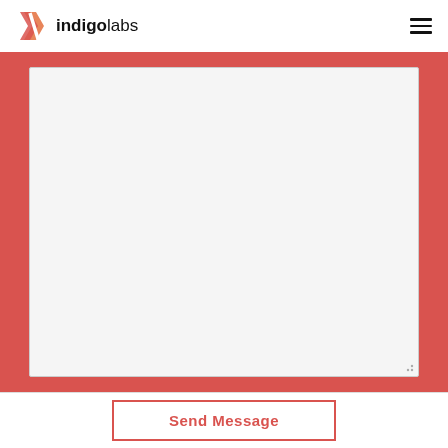[Figure (logo): Indigo Labs logo with red and orange chevron/arrow icon and bold 'indigo' followed by regular 'labs' text]
[Figure (other): Hamburger menu icon (three horizontal lines) in the top right corner]
[Figure (other): Large light gray text area / message input box with resize handle, set against a red/salmon background with red side bars]
Send Message